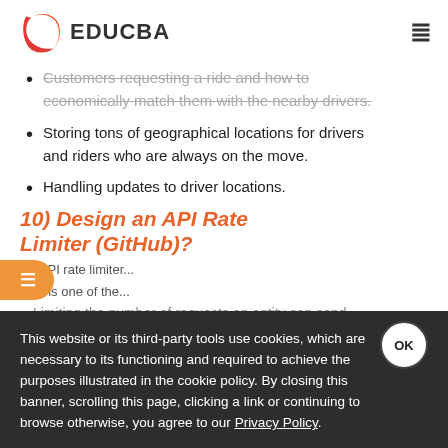EDUCBA
Customers requesting a ride and how to economically match them with the nearby drivers.
Storing tons of geographical locations for drivers and riders who are always on the move.
Handling updates to driver locations.
10) Design an API Rate Limiter (GitHub)?
An API rate limiter...
This is one of the...
Limiting the number of requests an entity can send to an API within a time window; for example, ten
This website or its third-party tools use cookies, which are necessary to its functioning and required to achieve the purposes illustrated in the cookie policy. By closing this banner, scrolling this page, clicking a link or continuing to browse otherwise, you agree to our Privacy Policy